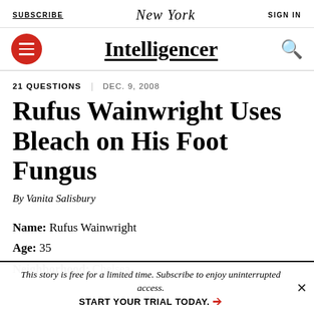SUBSCRIBE | New York | SIGN IN
Intelligencer
21 QUESTIONS | DEC. 9, 2008
Rufus Wainwright Uses Bleach on His Foot Fungus
By Vanita Salisbury
Name: Rufus Wainwright
Age: 35
Neighborhood: Chelsea
This story is free for a limited time. Subscribe to enjoy uninterrupted access. START YOUR TRIAL TODAY. ➜